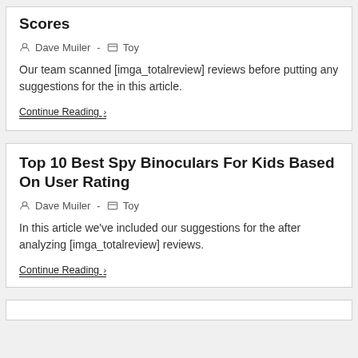Scores
Dave Muiler - Toy
Our team scanned [imga_totalreview] reviews before putting any suggestions for the in this article.
Continue Reading ›
Top 10 Best Spy Binoculars For Kids Based On User Rating
Dave Muiler - Toy
In this article we've included our suggestions for the after analyzing [imga_totalreview] reviews.
Continue Reading ›